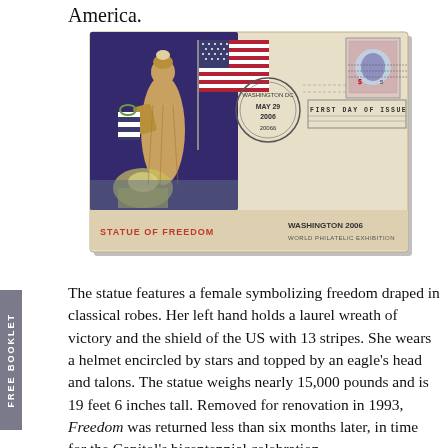America.
[Figure (illustration): First Day of Issue envelope featuring the Statue of Freedom. Left panel shows illustration of the Statue of Freedom holding a laurel wreath, standing in front of an American flag with the US Capitol dome in the background, on a purple/blue background. Right side shows a postmark reading WASHINGTON DC MAY 29 2006 20066, a stamp, and 'FIRST DAY OF ISSUE' text. Bottom reads 'STATUE OF FREEDOM' in red and 'WASHINGTON 2006 WORLD PHILATELIC EXHIBITION'.]
The statue features a female symbolizing freedom draped in classical robes.  Her left hand holds a laurel wreath of victory and the shield of the US with 13 stripes.  She wears a helmet encircled by stars and topped by an eagle's head and talons.  The statue weighs nearly 15,000 pounds and is 19 feet 6 inches tall.  Removed for renovation in 1993, Freedom was returned less than six months later, in time for the Capitol's bicentennial celebration.